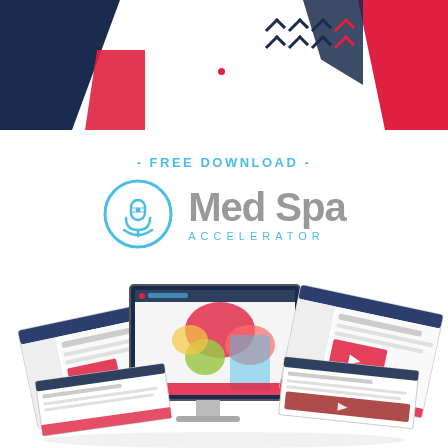[Figure (illustration): Decorative top banner with dark navy and red geometric shapes, chevron arrows, and a small red dot]
- FREE DOWNLOAD -
[Figure (logo): Med Spa Accelerator logo: circular microphone/leaf icon in light blue, text 'Med Spa' in gray bold, 'ACCELERATOR' in light blue spaced letters below]
[Figure (illustration): Desktop computer monitor displaying a colorful website, flanked by angled screenshots of web pages showing course/training content with red YouTube-style video thumbnails and form elements]